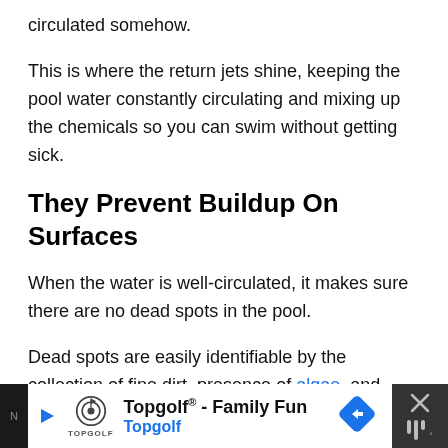circulated somehow.
This is where the return jets shine, keeping the pool water constantly circulating and mixing up the chemicals so you can swim without getting sick.
They Prevent Buildup On Surfaces
When the water is well-circulated, it makes sure there are no dead spots in the pool.
Dead spots are easily identifiable by the collection of fine dirt, presence of algae, and buildup of calcium deposits along the waterline.
[Figure (other): Advertisement banner for Topgolf. Shows Topgolf logo, text 'Topgolf® - Family Fun' and 'Topgolf' in blue, with a blue navigation arrow icon and a close button.]